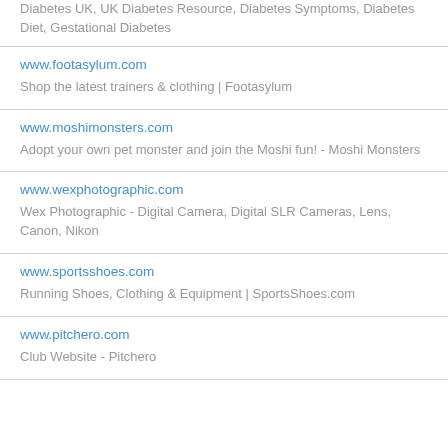Diabetes UK, UK Diabetes Resource, Diabetes Symptoms, Diabetes Diet, Gestational Diabetes
www.footasylum.com
Shop the latest trainers & clothing | Footasylum
www.moshimonsters.com
Adopt your own pet monster and join the Moshi fun! - Moshi Monsters
www.wexphotographic.com
Wex Photographic - Digital Camera, Digital SLR Cameras, Lens, Canon, Nikon
www.sportsshoes.com
Running Shoes, Clothing & Equipment | SportsShoes.com
www.pitchero.com
Club Website - Pitchero